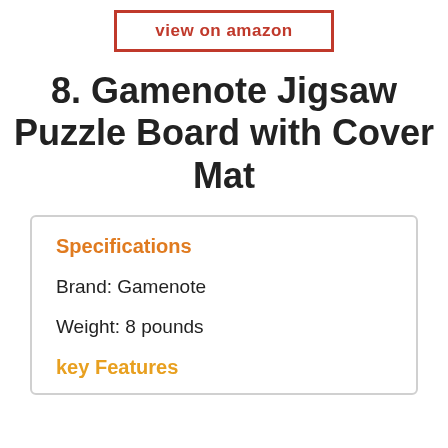[Figure (other): Orange-bordered button with text 'view on amazon']
8. Gamenote Jigsaw Puzzle Board with Cover Mat
Specifications
Brand: Gamenote
Weight: 8 pounds
key Features